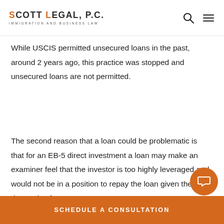SCOTT LEGAL, P.C. IMMIGRATION AND BUSINESS LAW
While USCIS permitted unsecured loans in the past, around 2 years ago, this practice was stopped and unsecured loans are not permitted.
The second reason that a loan could be problematic is that for an EB-5 direct investment a loan may make an examiner feel that the investor is too highly leveraged and would not be in a position to repay the loan given the demands of a start up. As
SCHEDULE A CONSULTATION